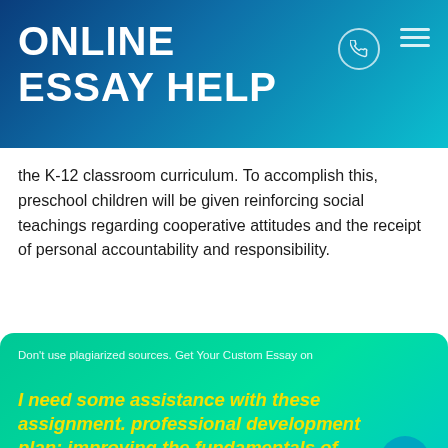ONLINE ESSAY HELP
the K-12 classroom curriculum. To accomplish this, preschool children will be given reinforcing social teachings regarding cooperative attitudes and the receipt of personal accountability and responsibility.
Don't use plagiarized sources. Get Your Custom Essay on
I need some assistance with these assignment. professional development plan: improving the fundamentals of preschool learning
[Figure (logo): McAfee SECURE badge with shield logo]
3/Page